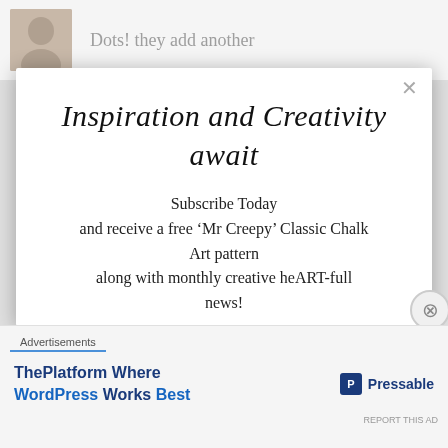[Figure (photo): Partial photo of a person at top left, with 'Dots! they add another' text beside it]
Dots! they add another
Inspiration and Creativity await
Subscribe Today and receive a free 'Mr Creepy' Classic Chalk Art pattern along with monthly creative heART-full news!
Email address
Advertisements
[Figure (screenshot): Advertisement: ThePlatform Where WordPress Works Best - Pressable]